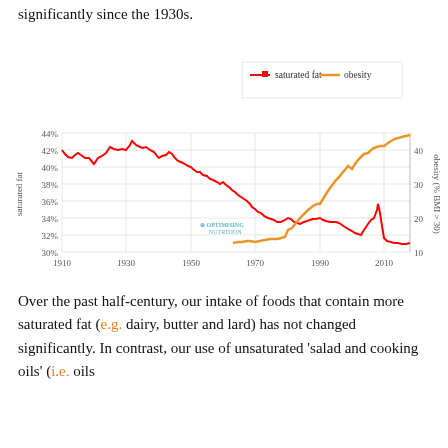significantly since the 1930s.
[Figure (line-chart): Saturated fat vs. obesity over time]
Over the past half-century, our intake of foods that contain more saturated fat (e.g. dairy, butter and lard) has not changed significantly. In contrast, our use of unsaturated ‘salad and cooking oils’ (i.e. oils